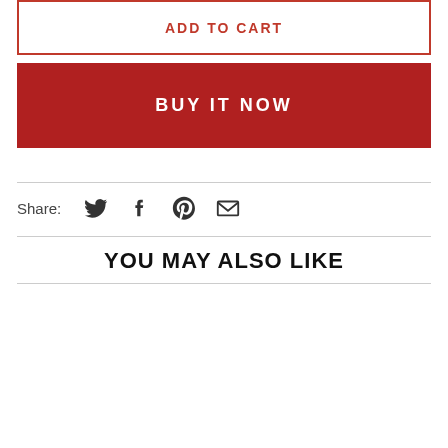ADD TO CART
BUY IT NOW
Share:
[Figure (other): Social share icons: Twitter bird, Facebook f, Pinterest p, Email envelope]
YOU MAY ALSO LIKE